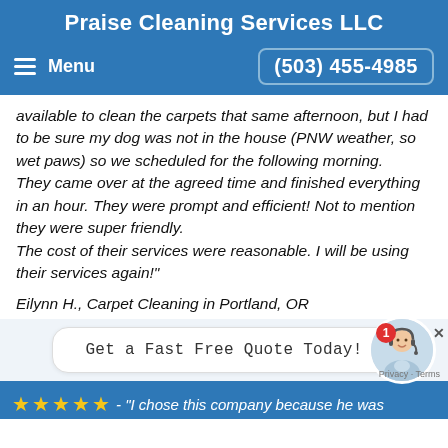Praise Cleaning Services LLC
Menu   (503) 455-4985
available to clean the carpets that same afternoon, but I had to be sure my dog was not in the house (PNW weather, so wet paws) so we scheduled for the following morning.
They came over at the agreed time and finished everything in an hour. They were prompt and efficient! Not to mention they were super friendly.
The cost of their services were reasonable. I will be using their services again!"
Eilynn H., Carpet Cleaning in Portland, OR
[Figure (screenshot): Chat widget with agent avatar and notification badge showing 'Get a Fast Free Quote Today!' message bubble]
★★★★★ - "I chose this company because he was